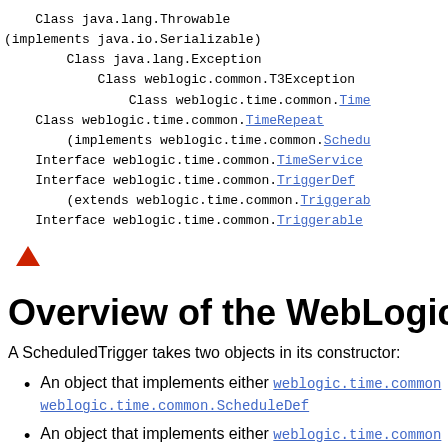Class java.lang.Throwable
(implements java.io.Serializable)
  Class java.lang.Exception
    Class weblogic.common.T3Exception
      Class weblogic.time.common.Time...
  Class weblogic.time.common.TimeRepeat
    (implements weblogic.time.common.Schedu...
  Interface weblogic.time.common.TimeService...
  Interface weblogic.time.common.TriggerDef
    (extends weblogic.time.common.Triggerab...
  Interface weblogic.time.common.Triggerable
[Figure (other): Red upward-pointing triangle arrow icon used as a navigation anchor]
Overview of the WebLogic Ti...
A ScheduledTrigger takes two objects in its constructor:
An object that implements either weblogic.time.common... weblogic.time.common.ScheduleDef
An object that implements either weblogic.time.common...